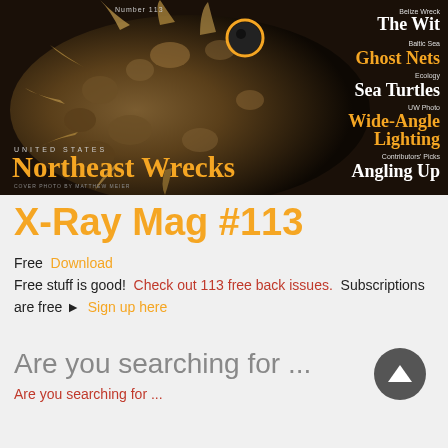[Figure (photo): Magazine cover of X-Ray Mag issue 113 featuring a frogfish photo by Matthew Meier. Cover shows 'UNITED STATES Northeast Wrecks' in large text, with topic headings: Belize Wreck The Wit, Baltic Sea Ghost Nets, Ecology Sea Turtles, UW Photo Wide-Angle Lighting, Contributors' Picks Angling Up]
X-Ray Mag #113
Free Download
Free stuff is good! Check out 113 free back issues. Subscriptions are free ► Sign up here
Are you searching for ...
Are you searching for ...